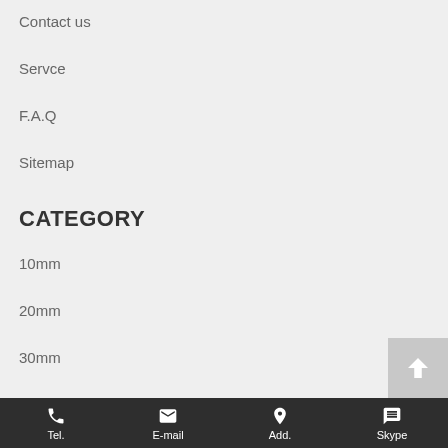Contact us
Servce
F.A.Q
Sitemap
CATEGORY
10mm
20mm
30mm
40mm
50mm
60mm
70mm
80mm
Tel.  E-mail  Add.  Skype